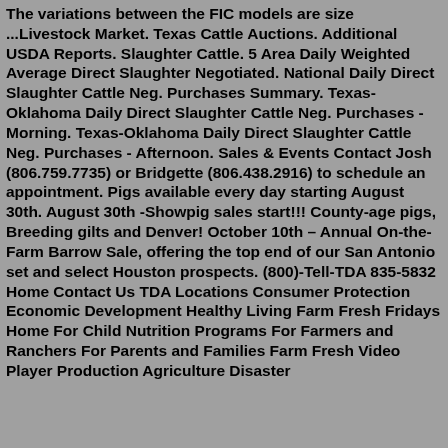The variations between the FIC models are size ...Livestock Market. Texas Cattle Auctions. Additional USDA Reports. Slaughter Cattle. 5 Area Daily Weighted Average Direct Slaughter Negotiated. National Daily Direct Slaughter Cattle Neg. Purchases Summary. Texas-Oklahoma Daily Direct Slaughter Cattle Neg. Purchases - Morning. Texas-Oklahoma Daily Direct Slaughter Cattle Neg. Purchases - Afternoon. Sales & Events Contact Josh (806.759.7735) or Bridgette (806.438.2916) to schedule an appointment. Pigs available every day starting August 30th. August 30th -Showpig sales start!!! County-age pigs, Breeding gilts and Denver! October 10th – Annual On-the-Farm Barrow Sale, offering the top end of our San Antonio set and select Houston prospects. (800)-Tell-TDA 835-5832 Home Contact Us TDA Locations Consumer Protection Economic Development Healthy Living Farm Fresh Fridays Home For Child Nutrition Programs For Farmers and Ranchers For Parents and Families Farm Fresh Video Player Production Agriculture Disaster